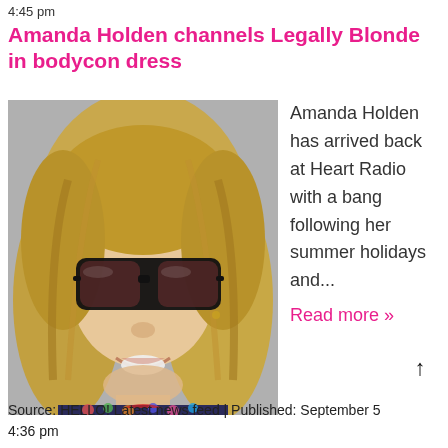4:45 pm
Amanda Holden channels Legally Blonde in bodycon dress
[Figure (photo): Close-up photo of Amanda Holden, a blonde woman wearing large black cat-eye sunglasses, smiling, wearing a floral top]
Amanda Holden has arrived back at Heart Radio with a bang following her summer holidays and...
Read more »
Source: HELLO! Latest news feed | Published: September 5 4:36 pm